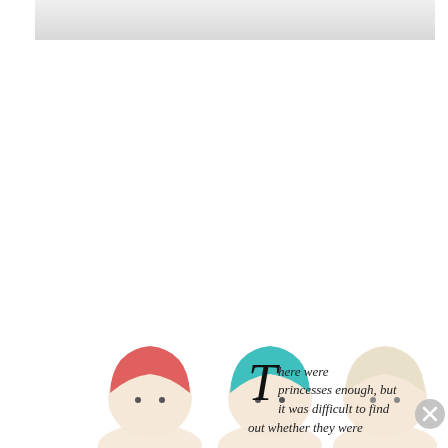[Figure (photo): Light gray horizontal banner image at the top of the page]
[Figure (illustration): Three round-headed princess doll figures with colored hair caps (pink/red, teal/turquoise, and blonde/white), shown from the shoulders up, positioned in the lower-left portion of the page]
There were princesses enough, but it was difficult to find out whether they were